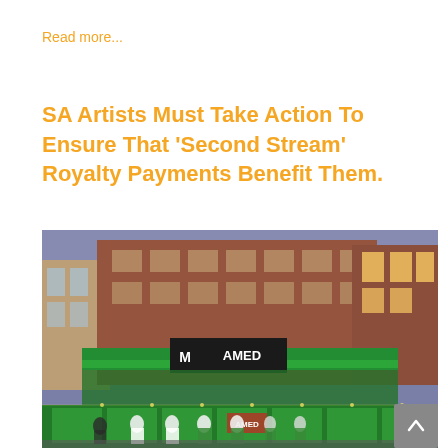Read more...
SA Artists Must Take Action To Ensure That 'Second Stream' Royalty Payments Benefit Them.
[Figure (photo): Evening exterior photograph of a modern multi-story building with brick facade, illuminated green signage and canopy, people gathered outside near green-branded kiosks or booths, taken at dusk.]